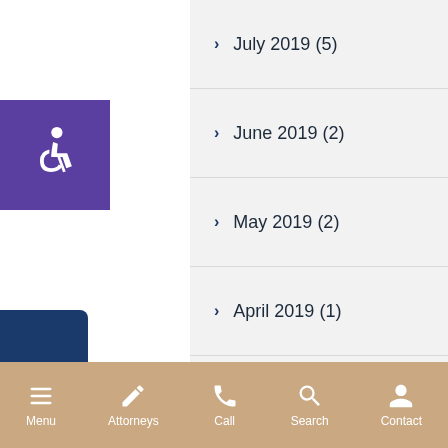July 2019 (5)
June 2019 (2)
May 2019 (2)
April 2019 (1)
February 2019 (1)
January 2019 (3)
December 2018 (5)
Menu  Attorneys  Call  Search  Contact